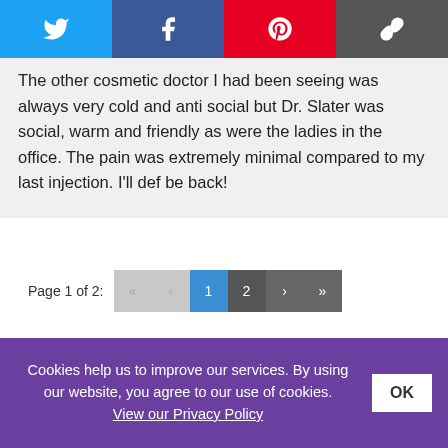[Figure (other): Social sharing bar with Twitter, Facebook, Pinterest, and link buttons]
The other cosmetic doctor I had been seeing was always very cold and anti social but Dr. Slater was social, warm and friendly as were the ladies in the office. The pain was extremely minimal compared to my last injection. I'll def be back!
Page 1 of 2: « ‹ 1 2 › »
Powered by WP Customer Reviews
Cookies help us to improve our services. By using our website, you agree to our use of cookies. View our Privacy Policy